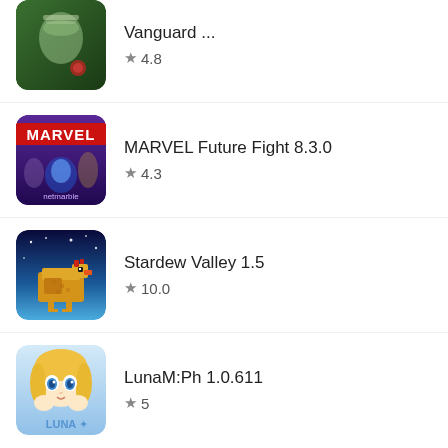Vanguard ... ★ 4.8
MARVEL Future Fight 8.3.0 ★ 4.3
Stardew Valley 1.5 ★ 10.0
LunaM:Ph 1.0.611 ★ 5
Leave a Reply
Your email address will not be published. Required fields are